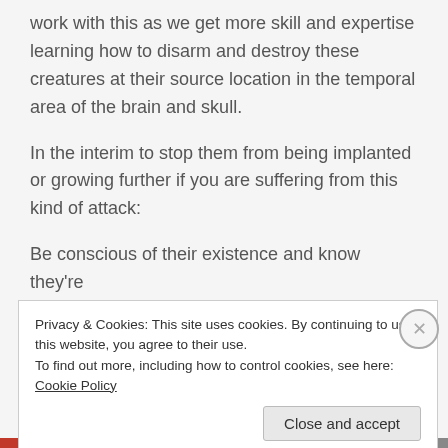work with this as we get more skill and expertise learning how to disarm and destroy these creatures at their source location in the temporal area of the brain and skull.
In the interim to stop them from being implanted or growing further if you are suffering from this kind of attack:
Be conscious of their existence and know they're
Privacy & Cookies: This site uses cookies. By continuing to use this website, you agree to their use.
To find out more, including how to control cookies, see here: Cookie Policy
Close and accept